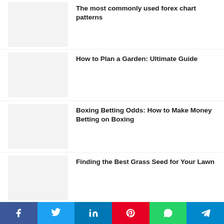The most commonly used forex chart patterns
How to Plan a Garden: Ultimate Guide
Boxing Betting Odds: How to Make Money Betting on Boxing
Finding the Best Grass Seed for Your Lawn
What You Should Know About DC's Stargirl